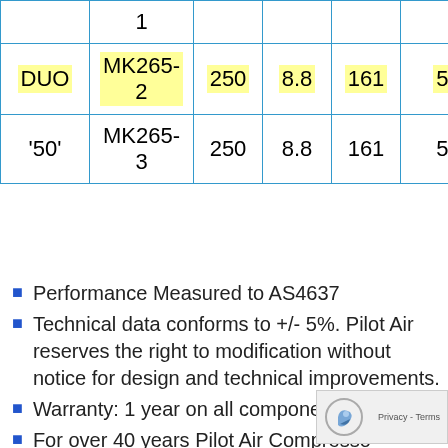|  | 1 |  |  |  |  |
| DUO | MK265-
2 | 250 | 8.8 | 161 | 5.7... |
| '50' | MK265-
3 | 250 | 8.8 | 161 | 5.7... |
Performance Measured to AS4637
Technical data conforms to +/- 5%. Pilot Air reserves the right to modification without notice for design and technical improvements.
Warranty: 1 year on all components.
For over 40 years Pilot Air Compresso...